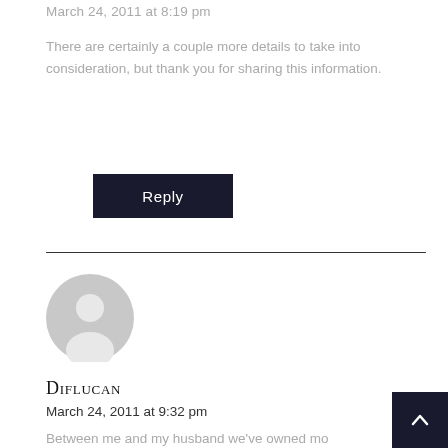March 24, 2011 at 8:19 pm
There are certainly a couple more details to take into consideration, but thank you for sharing this information.
Reply
[Figure (illustration): Gray default user avatar circle with silhouette]
Diflucan
March 24, 2011 at 9:32 pm
Between me and my husband we've owned more MP3 players over the years than I can count,